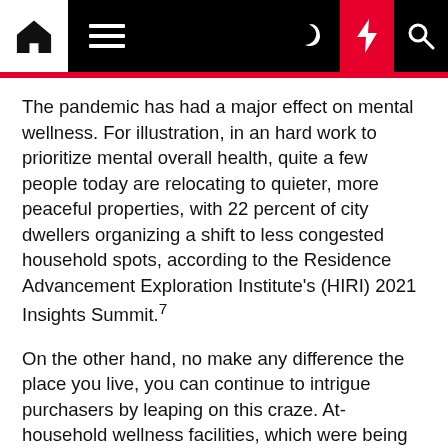[Navigation bar with home, menu, dark mode, lightning, search icons]
The pandemic has had a major effect on mental wellness. For illustration, in an hard work to prioritize mental overall health, quite a few people today are relocating to quieter, more peaceful properties, with 22 percent of city dwellers organizing a shift to less congested household spots, according to the Residence Advancement Exploration Institute's (HIRI) 2021 Insights Summit.⁷
On the other hand, no make any difference the place you live, you can continue to intrigue purchasers by leaping on this craze. At-household wellness facilities, which were being at the time viewed as luxuries, are now on numerous homeowners' should-have lists. Indoor areas that function as a retreat for wellness and self-care have turn out to be really